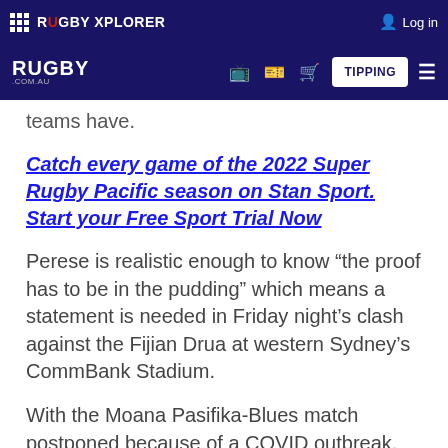RUGBY XPLORER | Log in
RUGBY .COM.AU | TIPPING
teams have.
Catch every game of the 2022 Super Rugby Pacific season on Stan Sport. Start your Free Sport Trial Now
Perese is realistic enough to know “the proof has to be in the pudding” which means a statement is needed in Friday night’s clash against the Fijian Drua at western Sydney’s CommBank Stadium.
With the Moana Pasifika-Blues match postponed because of a COVID outbreak, the worst team of 2021 oddly finds itself in the showpiece slot to play